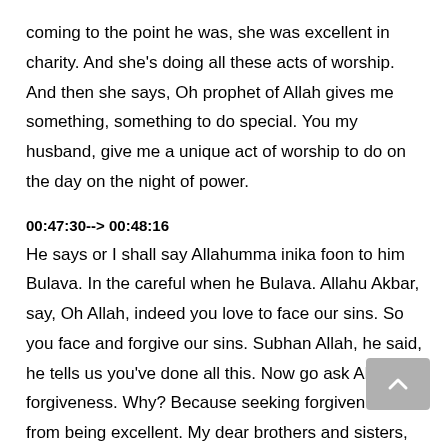coming to the point he was, she was excellent in charity. And she's doing all these acts of worship. And then she says, Oh prophet of Allah gives me something, something to do special. You my husband, give me a unique act of worship to do on the day on the night of power.
00:47:30--> 00:48:16
He says or I shall say Allahumma inika foon to him Bulava. In the careful when he Bulava. Allahu Akbar, say, Oh Allah, indeed you love to face our sins. So you face and forgive our sins. Subhan Allah, he said, he tells us you've done all this. Now go ask Allah for forgiveness. Why? Because seeking forgiveness is from being excellent. My dear brothers and sisters, these are the three formulas for success. And these are the three eyes of success that you should attach to the